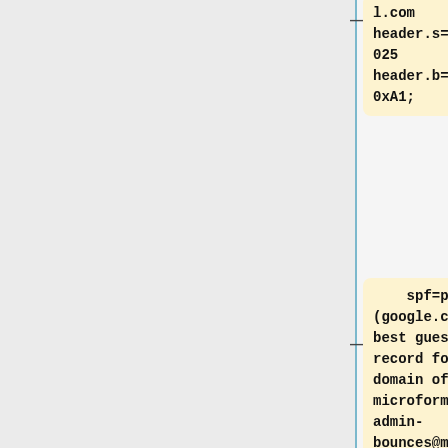l.com header.s=20161025 header.b=NpEH0xA1;
spf=pass (google.com: best guess record for domain of microformats-admin-bounces@microformats.org designates 64.207.154.205 as permitted sender) smtp.mailfrom=microformats-admin-bounces@micr